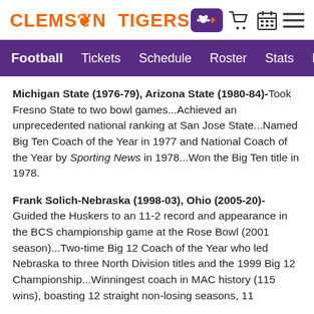CLEMSON TIGERS
Football  Tickets  Schedule  Roster  Stats  New
Michigan State (1976-79), Arizona State (1980-84)- Took Fresno State to two bowl games...Achieved an unprecedented national ranking at San Jose State...Named Big Ten Coach of the Year in 1977 and National Coach of the Year by Sporting News in 1978...Won the Big Ten title in 1978.
Frank Solich-Nebraska (1998-03), Ohio (2005-20)- Guided the Huskers to an 11-2 record and appearance in the BCS championship game at the Rose Bowl (2001 season)...Two-time Big 12 Coach of the Year who led Nebraska to three North Division titles and the 1999 Big 12 Championship...Winningest coach in MAC history (115 wins), boasting 12 straight non-losing seasons, 11